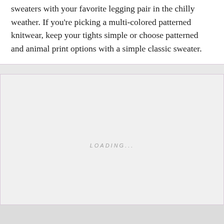sweaters with your favorite legging pair in the chilly weather. If you're picking a multi-colored patterned knitwear, keep your tights simple or choose patterned and animal print options with a simple classic sweater.
[Figure (other): Loading placeholder image area with 'LOADING...' text centered in a light gray box]